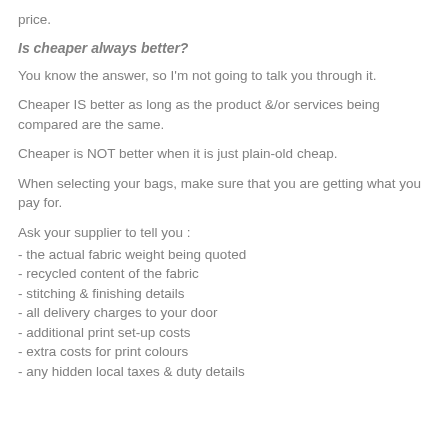price.
Is cheaper always better?
You know the answer, so I'm not going to talk you through it.
Cheaper IS better as long as the product &/or services being compared are the same.
Cheaper is NOT better when it is just plain-old cheap.
When selecting your bags, make sure that you are getting what you pay for.
Ask your supplier to tell you :
- the actual fabric weight being quoted
- recycled content of the fabric
- stitching & finishing details
- all delivery charges to your door
- additional print set-up costs
- extra costs for print colours
- any hidden local taxes & duty details